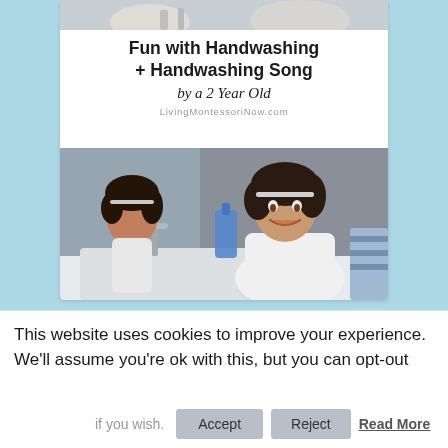[Figure (photo): Blog post card on a light blue background showing a white card with title 'Fun with Handwashing + Handwashing Song by a 2 Year Old' from LivingMontessoriNow.com and a photo of a young girl smiling while washing hands at a sink with her reflection visible in a mirror]
This website uses cookies to improve your experience. We'll assume you're ok with this, but you can opt-out if you wish. Accept Reject Read More